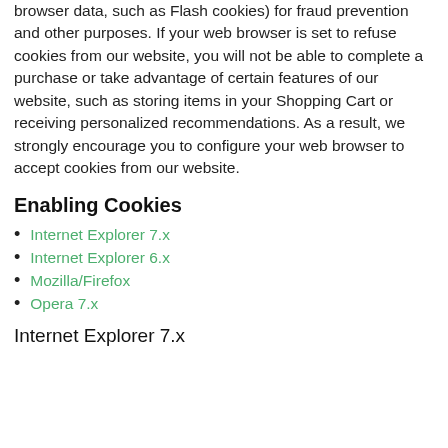browser data, such as Flash cookies) for fraud prevention and other purposes. If your web browser is set to refuse cookies from our website, you will not be able to complete a purchase or take advantage of certain features of our website, such as storing items in your Shopping Cart or receiving personalized recommendations. As a result, we strongly encourage you to configure your web browser to accept cookies from our website.
Enabling Cookies
Internet Explorer 7.x
Internet Explorer 6.x
Mozilla/Firefox
Opera 7.x
Internet Explorer 7.x